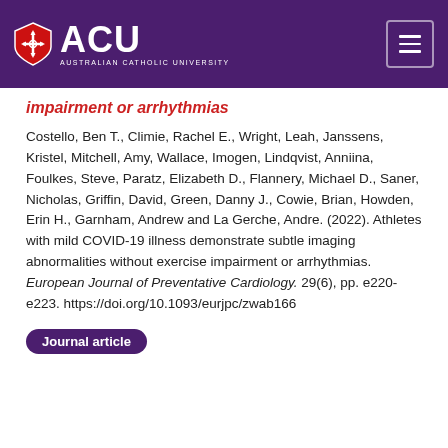[Figure (logo): Australian Catholic University (ACU) logo with shield emblem and university name, on purple header bar with hamburger menu icon]
impairment or arrhythmias
Costello, Ben T., Climie, Rachel E., Wright, Leah, Janssens, Kristel, Mitchell, Amy, Wallace, Imogen, Lindqvist, Anniina, Foulkes, Steve, Paratz, Elizabeth D., Flannery, Michael D., Saner, Nicholas, Griffin, David, Green, Danny J., Cowie, Brian, Howden, Erin H., Garnham, Andrew and La Gerche, Andre. (2022). Athletes with mild COVID-19 illness demonstrate subtle imaging abnormalities without exercise impairment or arrhythmias. European Journal of Preventative Cardiology. 29(6), pp. e220-e223. https://doi.org/10.1093/eurjpc/zwab166
Journal article